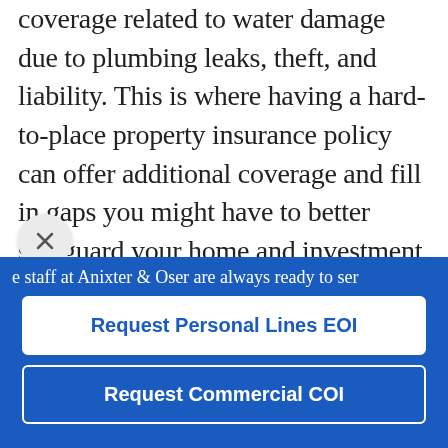coverage related to water damage due to plumbing leaks, theft, and liability. This is where having a hard-to-place property insurance policy can offer additional coverage and fill in gaps you might have to better safeguard your home and investment.
Are you interested in enhancing your coverage with hard-to-place property insurance? Contact us to discuss your
e staff at Anixter & Oser are always ready to ser
Request Personal Lines EOI
Request Commercial COI